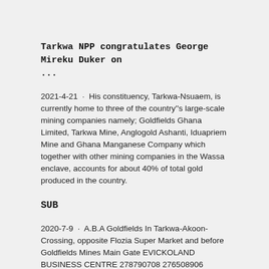Tarkwa NPP congratulates George Mireku Duker on ...
2021-4-21 · His constituency, Tarkwa-Nsuaem, is currently home to three of the country''s large-scale mining companies namely; Goldfields Ghana Limited, Tarkwa Mine, Anglogold Ashanti, Iduapriem Mine and Ghana Manganese Company which together with other mining companies in the Wassa enclave, accounts for about 40% of total gold produced in the country.
SUB
2020-7-9 · A.B.A Goldfields In Tarkwa-Akoon-Crossing, opposite Flozia Super Market and before Goldfields Mines Main Gate EVICKOLAND BUSINESS CENTRE 278790708 276508906 Aboadze District In Takoradi-Aboadze Junction, near Dwom road and opposite Sekondi-Takoradi Lorry Station, on the main road to Accra BASE POINT VENTURES